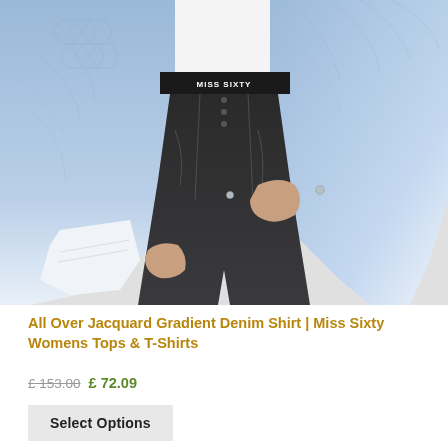[Figure (photo): Fashion product photo of a woman wearing an all-over jacquard gradient denim shirt (blue ombre/gradient effect from dark blue to white) open over a white crop top with 'MISS SIXTY' branded waistband and dark black jeans. The shot is cropped from chest to lower thigh.]
All Over Jacquard Gradient Denim Shirt | Miss Sixty Womens Tops & T-Shirts
£ 153.00 £ 72.09
Select Options